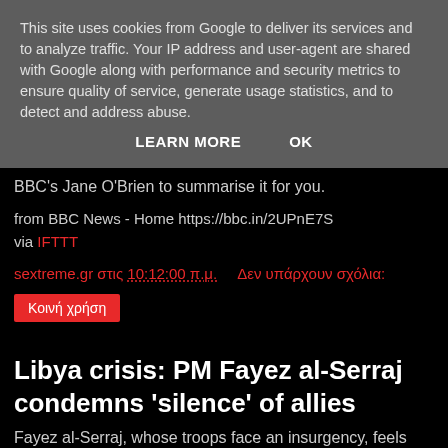This site uses cookies from Google to deliver its services and to analyze traffic. Your IP address and user-agent are shared with Google along with performance and security metrics to ensure quality of service, generate usage statistics, and to detect and address abuse.
LEARN MORE    OK
BBC's Jane O'Brien to summarise it for you.
from BBC News - Home https://bbc.in/2UPnE7S
via IFTTT
sextreme.gr στις 10:12:00 π.μ.    Δεν υπάρχουν σχόλια:
Κοινή χρήση
Libya crisis: PM Fayez al-Serraj condemns 'silence' of allies
Fayez al-Serraj, whose troops face an insurgency, feels